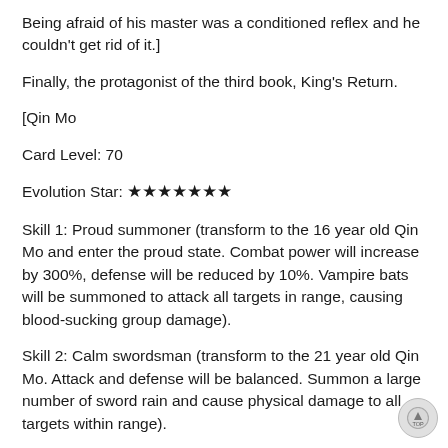Being afraid of his master was a conditioned reflex and he couldn't get rid of it.]
Finally, the protagonist of the third book, King's Return.
[Qin Mo
Card Level: 70
Evolution Star: ★★★★★★★
Skill 1: Proud summoner (transform to the 16 year old Qin Mo and enter the proud state. Combat power will increase by 300%, defense will be reduced by 10%. Vampire bats will be summoned to attack all targets in range, causing blood-sucking group damage).
Skill 2: Calm swordsman (transform to the 21 year old Qin Mo. Attack and defense will be balanced. Summon a large number of sword rain and cause physical damage to all targets within range).